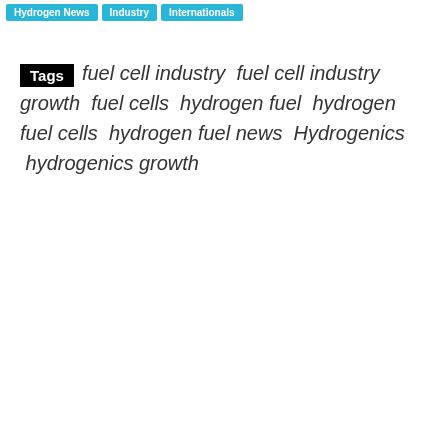Hydrogen News  Industry  Internationals
Tags  fuel cell industry  fuel cell industry growth  fuel cells  hydrogen fuel  hydrogen fuel cells  hydrogen fuel news  Hydrogenics  hydrogenics growth